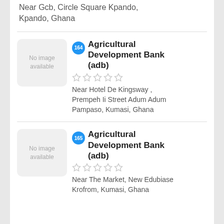Near Gcb, Circle Square Kpando, Kpando, Ghana
[Figure (other): No image available placeholder thumbnail]
Agricultural Development Bank (adb)
Near Hotel De Kingsway , Prempeh Ii Street Adum Adum Pampaso, Kumasi, Ghana
[Figure (other): No image available placeholder thumbnail]
Agricultural Development Bank (adb)
Near The Market, New Edubiase Krofrom, Kumasi, Ghana